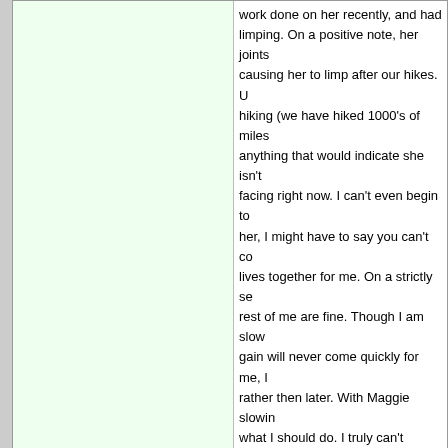work done on her recently, and had limping. On a positive note, her joints causing her to limp after our hikes. U hiking (we have hiked 1000's of miles anything that would indicate she isn't facing right now. I can't even begin t her, I might have to say you can't co lives together for me. On a strictly se rest of me are fine. Though I am slow gain will never come quickly for me, I rather then later. With Maggie slowi what I should do. I truly can't imagine When we come up to people on the t us and nothing else matters. I have m to me. My avatar is me with my last c until leukemia struck him down when gees, we too have had some incredi
Are you hiding in the shadows - forge
Last edited by rbi99; 05-01-2022 at 11:12 AM
04-30-2022, 09:25 AM
rbi99
Member
[Figure (photo): Avatar image showing forest/leaf foliage, green trees]
Here's a few pictures from our trip.
Attached Images
IMG_8612a.jpg (148.2 KB, 301 views)
IMG_8643a.jpg (133.3 KB, 297 views)